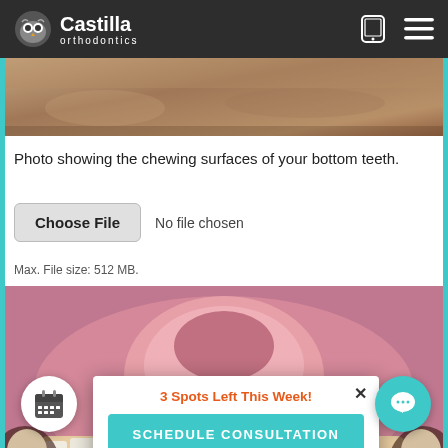[Figure (screenshot): Castilla Orthodontics website navigation bar with owl logo, mobile icon, and hamburger menu on dark background]
[Figure (photo): Partial dental photo showing chewing surfaces of bottom teeth with braces - cropped top portion]
Photo showing the chewing surfaces of your bottom teeth.
[Figure (screenshot): File upload widget with Choose File button and No file chosen text]
Max. File size: 512 MB.
[Figure (photo): Dental photo showing inside of mouth with braces on bottom teeth, tongue visible in center]
3 Spots Left This Week!
SCHEDULE CONSULTATION